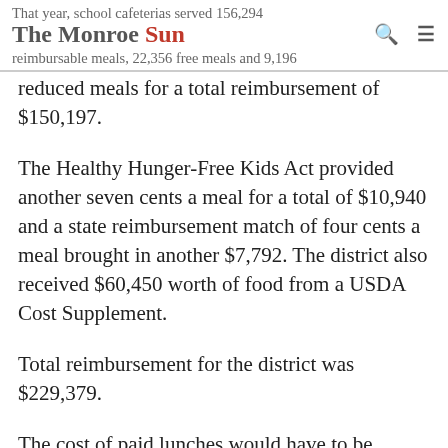That year, school cafeterias served 156,294 The Monroe Sun reimbursable meals, 22,356 free meals and 9,196
reduced meals for a total reimbursement of $150,197.
The Healthy Hunger-Free Kids Act provided another seven cents a meal for a total of $10,940 and a state reimbursement match of four cents a meal brought in another $7,792. The district also received $60,450 worth of food from a USDA Cost Supplement.
Total reimbursement for the district was $229,379.
The cost of paid lunches would have to be increased to make up for lost reimbursement, because Kobza said it must be paid for with profits from the lunch program.